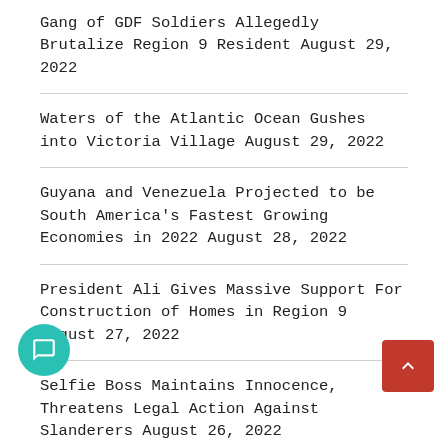Gang of GDF Soldiers Allegedly Brutalize Region 9 Resident August 29, 2022
Waters of the Atlantic Ocean Gushes into Victoria Village August 29, 2022
Guyana and Venezuela Projected to be South America's Fastest Growing Economies in 2022 August 28, 2022
President Ali Gives Massive Support For Construction of Homes in Region 9 August 27, 2022
Selfie Boss Maintains Innocence, Threatens Legal Action Against Slanderers August 26, 2022
Through investigation into Death of…